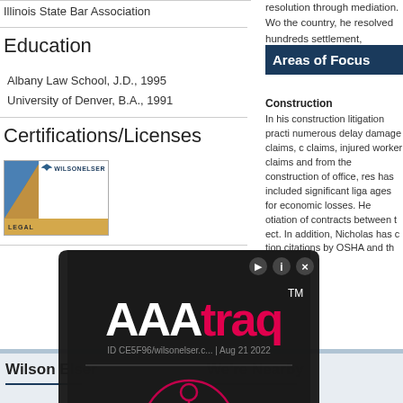Illinois State Bar Association
Education
Albany Law School, J.D., 1995
University of Denver, B.A., 1991
Certifications/Licenses
[Figure (logo): Wilson Elser legal logo badge with blue and gold design]
[Figure (screenshot): AAAtraq accessibility tracking popup overlay with logo and human figure icon, ID CE5F96/wilsonelser.c... Aug 21 2022]
resolution through mediation. Wo the country, he resolved hundreds settlement, realizing substantial c
Areas of Focus
Construction
In his construction litigation practi numerous delay damage claims, c claims, injured worker claims and from the construction of office, res has included significant liga ages for economic losses. He otiation of contracts between t ect. In addition, Nicholas has c tion citations by OSHA and th
Wilson Elser
We're Nearby